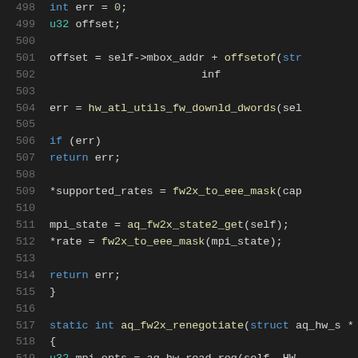[Figure (screenshot): Source code viewer showing C code lines 498-519 with syntax highlighting on dark background]